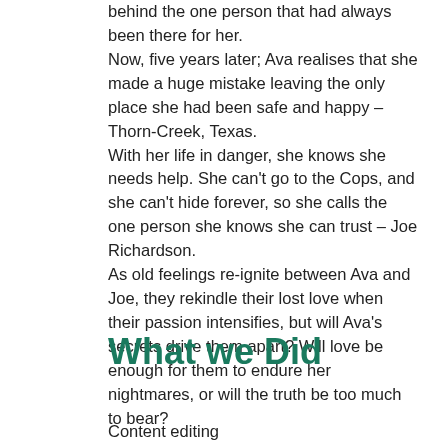behind the one person that had always been there for her. Now, five years later; Ava realises that she made a huge mistake leaving the only place she had been safe and happy – Thorn-Creek, Texas. With her life in danger, she knows she needs help. She can't go to the Cops, and she can't hide forever, so she calls the one person she knows she can trust – Joe Richardson. As old feelings re-ignite between Ava and Joe, they rekindle their lost love when their passion intensifies, but will Ava's secrets drive them apart? Will love be enough for them to endure her nightmares, or will the truth be too much to bear?
What we Did
Content editing...